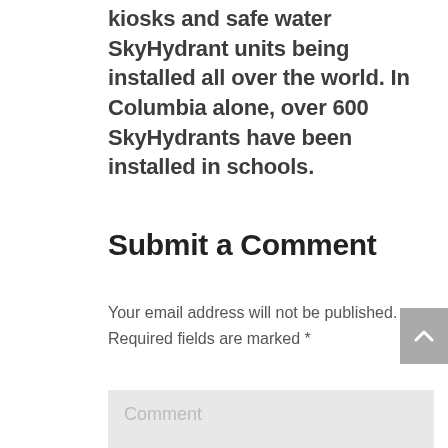kiosks and safe water SkyHydrant units being installed all over the world. In Columbia alone, over 600 SkyHydrants have been installed in schools.
Submit a Comment
Your email address will not be published. Required fields are marked *
Comment